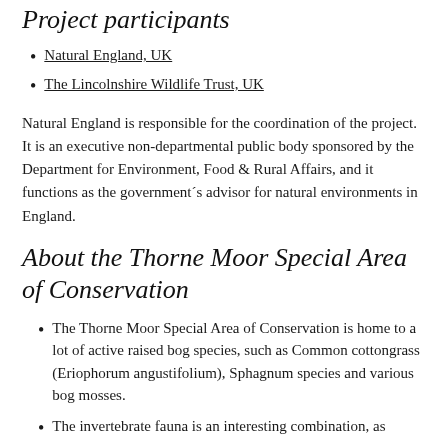Project participants
Natural England, UK
The Lincolnshire Wildlife Trust, UK
Natural England is responsible for the coordination of the project. It is an executive non-departmental public body sponsored by the Department for Environment, Food & Rural Affairs, and it functions as the government´s advisor for natural environments in England.
About the Thorne Moor Special Area of Conservation
The Thorne Moor Special Area of Conservation is home to a lot of active raised bog species, such as Common cottongrass (Eriophorum angustifolium), Sphagnum species and various bog mosses.
The invertebrate fauna is an interesting combination, as